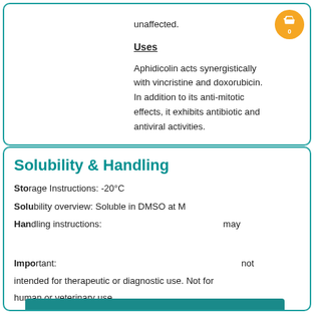L-phase, while remaining cells are unaffected.
Uses
Aphidicolin acts synergistically with vincristine and doxorubicin. In addition to its anti-mitotic effects, it exhibits antibiotic and antiviral activities.
Solubility & Handling
Storage Instructions: -20°C
Solubility overview: Soluble in DMSO at M
Handling instructions: ...may
COOKIES
This website (hellobio.com) uses cookies. We use them to give you the best experience. If you continue using our website, we'll assume that you are happy to receive all cookies on this website.
CONTINUE | Learn more | Decline
Important: This product is for research only and is not intended for therapeutic or diagnostic use. Not for human or veterinary use.